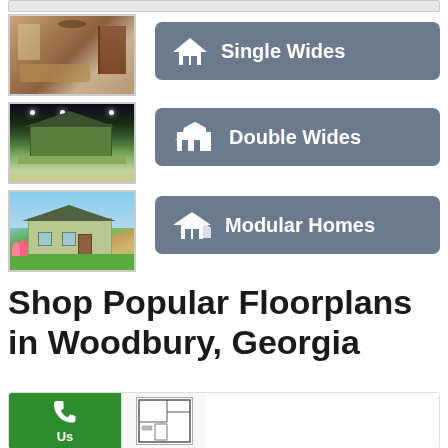[Figure (photo): Interior living room photo with ceiling fan and brick fireplace]
[Figure (photo): Exterior of a manufactured home with porch, evening/night lighting]
[Figure (photo): Exterior of a modular home with landscaping and blue sky]
[Figure (illustration): Gray button with house icon labeled Single Wides]
[Figure (illustration): Gray button with double house icon labeled Double Wides]
[Figure (illustration): Gray button with house icon labeled Modular Homes]
Shop Popular Floorplans in Woodbury, Georgia
[Figure (illustration): Green call button with phone icon and 'Us' label, next to a floorplan thumbnail]